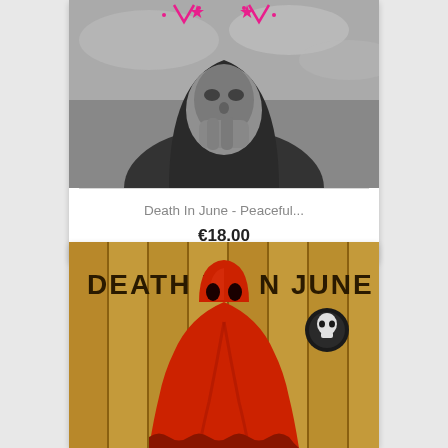[Figure (photo): Black and white photo of a person wearing a mask or face covering in a dramatic pose, with pink decorative elements at top. Death In June album art.]
Death In June - Peaceful...
€18.00
[Figure (photo): Album cover for Death In June showing a red hooded figure/skull candle against a wooden fence background with 'DEATH IN JUNE' text and a logo.]